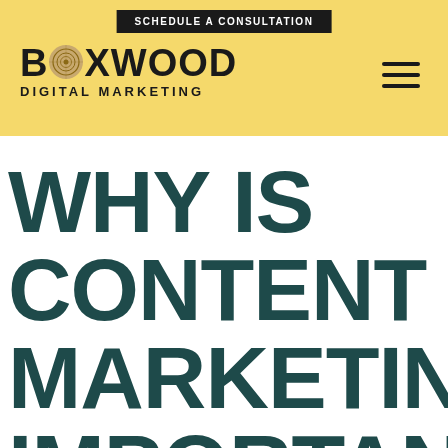SCHEDULE A CONSULTATION
[Figure (logo): Boxwood Digital Marketing logo with wood grain circle replacing the O in BOXWOOD, on a yellow background with hamburger menu icon]
WHY IS CONTENT MARKETING IMPORTANT